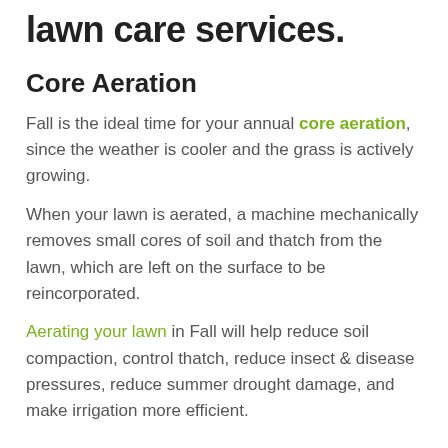lawn care services.
Core Aeration
Fall is the ideal time for your annual core aeration, since the weather is cooler and the grass is actively growing.
When your lawn is aerated, a machine mechanically removes small cores of soil and thatch from the lawn, which are left on the surface to be reincorporated.
Aerating your lawn in Fall will help reduce soil compaction, control thatch, reduce insect & disease pressures, reduce summer drought damage, and make irrigation more efficient.
Overseeding